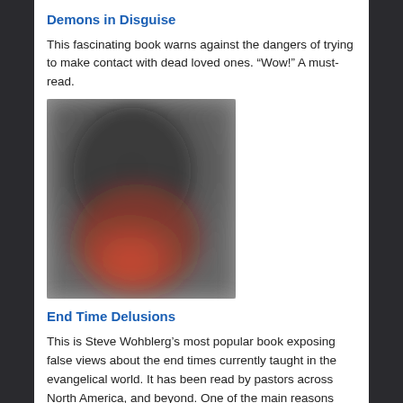Demons in Disguise
This fascinating book warns against the dangers of trying to make contact with dead loved ones. “Wow!” A must-read.
[Figure (photo): Blurred/redacted book cover image showing dark and red tones, appears to be a book cover for 'Demons in Disguise']
End Time Delusions
This is Steve Wohblerg’s most popular book exposing false views about the end times currently taught in the evangelical world. It has been read by pastors across North America, and beyond. One of the main reasons why Steve’s enemies attack him, and lie about him, is because this book counteracts THEIR OWN false beliefs, and they can’t take it. So, they